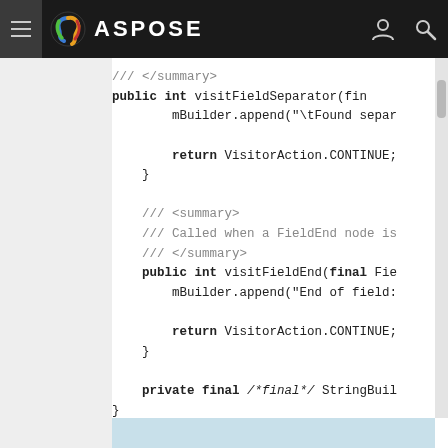ASPOSE
[Figure (screenshot): Code snippet showing Java visitFieldSeparator and visitFieldEnd methods with XML doc comments, mBuilder.append calls, and return VisitorAction.CONTINUE statements. Also shows closing brace and private final StringBuilder field.]